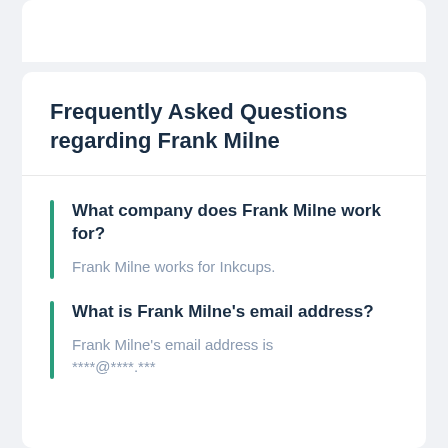Frequently Asked Questions regarding Frank Milne
What company does Frank Milne work for?
Frank Milne works for Inkcups.
What is Frank Milne's email address?
Frank Milne's email address is ****@****.***